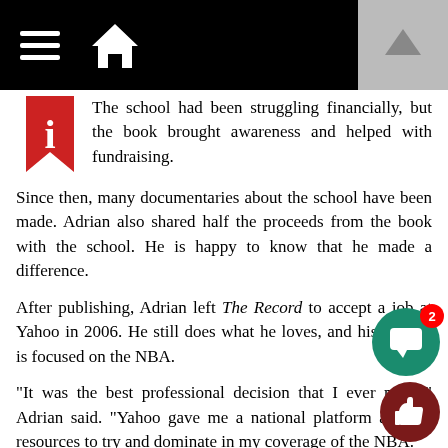Navigation bar with hamburger menu, home icon, and up arrow
The school had been struggling financially, but the book brought awareness and helped with fundraising. Since then, many documentaries about the school have been made. Adrian also shared half the proceeds from the book with the school. He is happy to know that he made a difference.
After publishing, Adrian left The Record to accept a job at Yahoo in 2006. He still does what he loves, and his writing is focused on the NBA.
"It was the best professional decision that I ever made," Adrian said. "Yahoo gave me a national platform and the resources to try and dominate in my coverage of the NBA."
On an average work day, Adrian will either work at home, commute into New York City or travel to a distant city where an NBA game will be held. Part of his normal workday consists of communicating on the phone with sources and meeting with players.
Yahoo has provided new media outlet opportunities, as well he